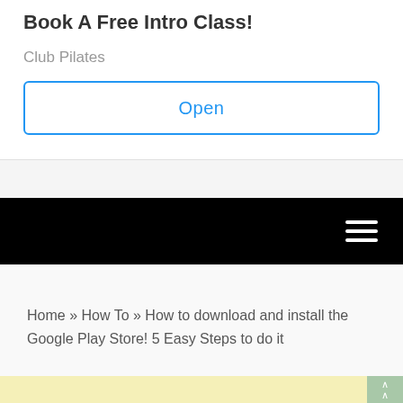Book A Free Intro Class!
Club Pilates
Open
[Figure (screenshot): Black navigation bar with white hamburger menu icon on the right side]
Home » How To » How to download and install the Google Play Store! 5 Easy Steps to do it